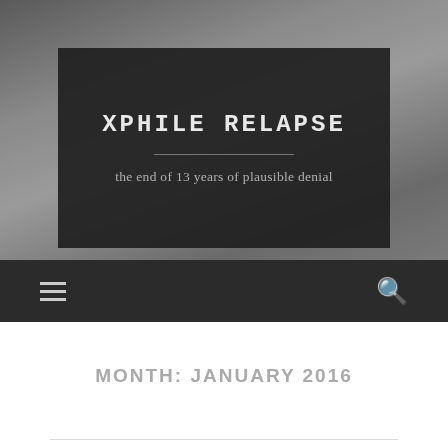[Figure (photo): Website header photo showing a person sitting on a floor with DVDs/CDs visible, partially obscured by dark overlay banner]
XPHILE RELAPSE
the end of 13 years of plausible denial
[Figure (infographic): Dark navigation bar with hamburger menu icon on left and search/magnifying glass icon on right]
MONTH: JANUARY 2016